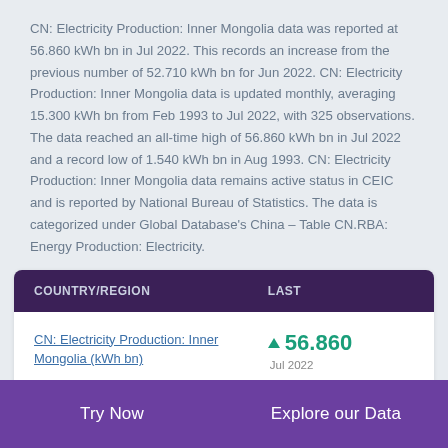CN: Electricity Production: Inner Mongolia data was reported at 56.860 kWh bn in Jul 2022. This records an increase from the previous number of 52.710 kWh bn for Jun 2022. CN: Electricity Production: Inner Mongolia data is updated monthly, averaging 15.300 kWh bn from Feb 1993 to Jul 2022, with 325 observations. The data reached an all-time high of 56.860 kWh bn in Jul 2022 and a record low of 1.540 kWh bn in Aug 1993. CN: Electricity Production: Inner Mongolia data remains active status in CEIC and is reported by National Bureau of Statistics. The data is categorized under Global Database's China – Table CN.RBA: Energy Production: Electricity.
| COUNTRY/REGION | LAST |
| --- | --- |
| CN: Electricity Production: Inner Mongolia (kWh bn) | ▲ 56.860
Jul 2022 |
Try Now    Explore our Data